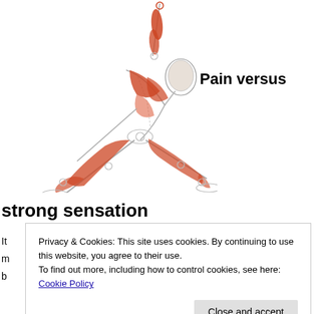[Figure (illustration): Anatomical illustration of a person performing a yoga triangle pose (Trikonasana), showing highlighted muscles in red/orange on a skeletal outline figure. The person is stretching sideways with one arm raised and one reaching toward the ground.]
Pain versus
strong sensation
Privacy & Cookies: This site uses cookies. By continuing to use this website, you agree to their use.
To find out more, including how to control cookies, see here: Cookie Policy
Close and accept